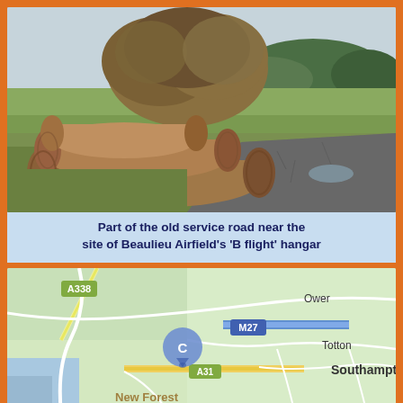[Figure (photo): Photograph of old service road near Beaulieu Airfield, showing stacked logs on left, a cracked asphalt road surface, scrubby vegetation and trees in the background, green fields]
Part of the old service road near the site of Beaulieu Airfield's 'B flight' hangar
[Figure (map): Google Maps screenshot showing Beaulieu Airfield area (marked C) near New Forest, with roads A338, A31, M27 visible, and towns Ower, Totton, Southampton labeled]